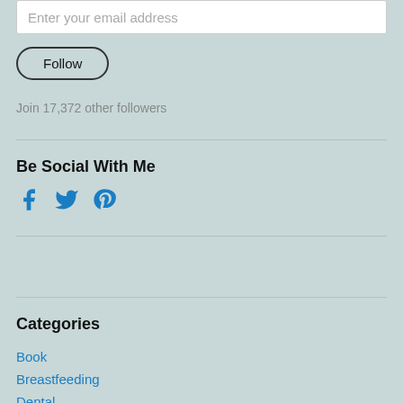Enter your email address
Follow
Join 17,372 other followers
Be Social With Me
[Figure (illustration): Social media icons: Facebook, Twitter, Pinterest in blue]
Categories
Book
Breastfeeding
Dental